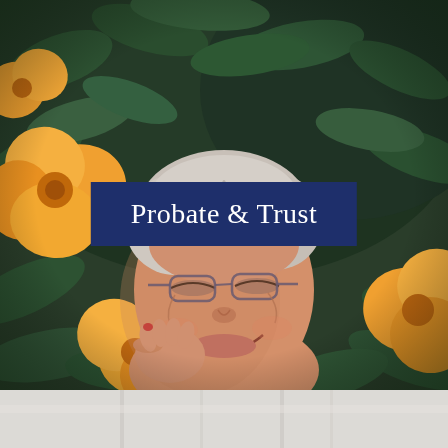[Figure (photo): An elderly woman with white hair, glasses, and a wide joyful smile, resting her cheek on her hand, surrounded by lush green foliage and orange/yellow tropical flowers (mandevilla). The scene is warm and colorful.]
Probate & Trust